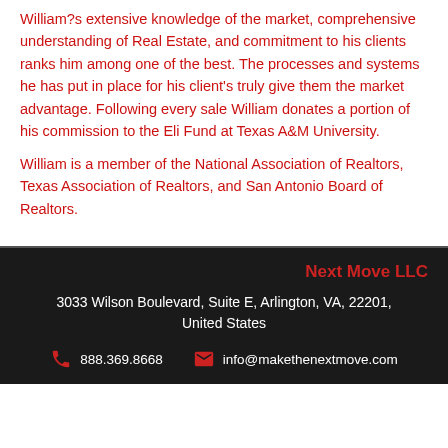William?s extensive knowledge of the market, comprehensive understanding of Real Estate, and commitment to his clients ranks him among one of the best. The processes and systems he has put in place for his client's truly give them the market advantage. Following every sale William donates a portion of his commission to the Eli Fund at Texas A&M University.
William is a member of the National Association of Realtors, Texas Association of Realtors, and San Antonio Board of Realtors.
Next Move LLC
3033 Wilson Boulevard, Suite E, Arlington, VA, 22201, United States
888.369.8668  info@makethenextmove.com